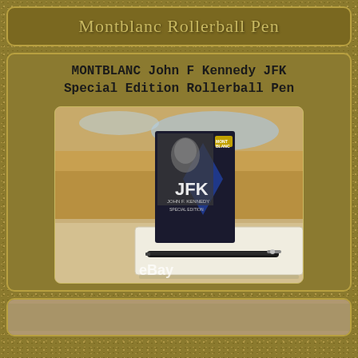Montblanc Rollerball Pen
MONTBLANC John F Kennedy JFK Special Edition Rollerball Pen
[Figure (photo): Product photo showing a Montblanc JFK Special Edition pen displayed in its white box, with a dark blue JFK booklet/case featuring a black-and-white portrait of John F. Kennedy and the letters 'JFK' in large text, Mont Blanc logo visible. An eBay watermark is visible at the bottom of the image.]
[Figure (photo): Partially visible photo at the bottom of the page, appears to show another product view.]